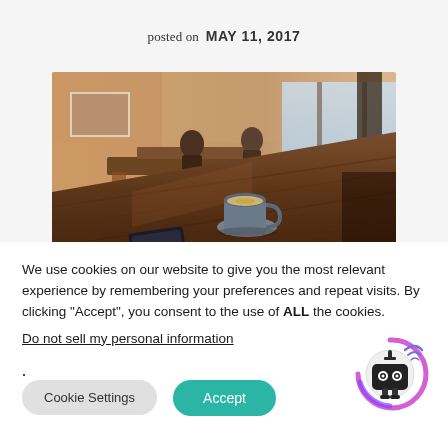posted on  MAY 11, 2017
[Figure (photo): Interior of a cafe with a long wooden table, a coffee cup on a saucer, a mobile phone, and people sitting in the background near large windows]
We use cookies on our website to give you the most relevant experience by remembering your preferences and repeat visits. By clicking "Accept", you consent to the use of ALL the cookies.
Do not sell my personal information.
Cookie Settings
Accept